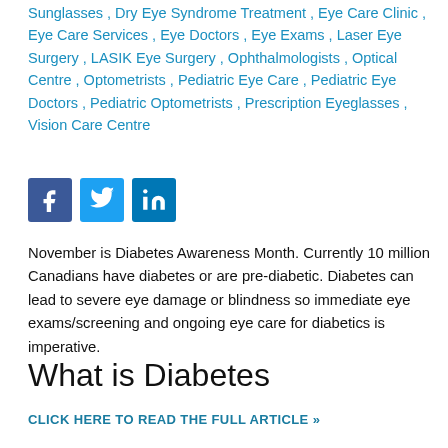Sunglasses , Dry Eye Syndrome Treatment , Eye Care Clinic , Eye Care Services , Eye Doctors , Eye Exams , Laser Eye Surgery , LASIK Eye Surgery , Ophthalmologists , Optical Centre , Optometrists , Pediatric Eye Care , Pediatric Eye Doctors , Pediatric Optometrists , Prescription Eyeglasses , Vision Care Centre
[Figure (logo): Social media icons: Facebook (blue square with white f), Twitter (light blue square with white bird), LinkedIn (blue square with white in)]
November is Diabetes Awareness Month. Currently 10 million Canadians have diabetes or are pre-diabetic. Diabetes can lead to severe eye damage or blindness so immediate eye exams/screening and ongoing eye care for diabetics is imperative.
What is Diabetes
CLICK HERE TO READ THE FULL ARTICLE »